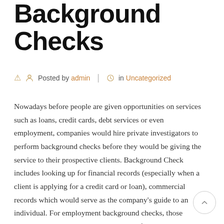Background Checks
Posted by admin | in Uncategorized
Nowadays before people are given opportunities on services such as loans, credit cards, debt services or even employment, companies would hire private investigators to perform background checks before they would be giving the service to their prospective clients. Background Check includes looking up for financial records (especially when a client is applying for a credit card or loan), commercial records which would serve as the company's guide to an individual. For employment background checks, those under the human resources department of the company can use the background check to assess the job's candidate qualifications (to check on his